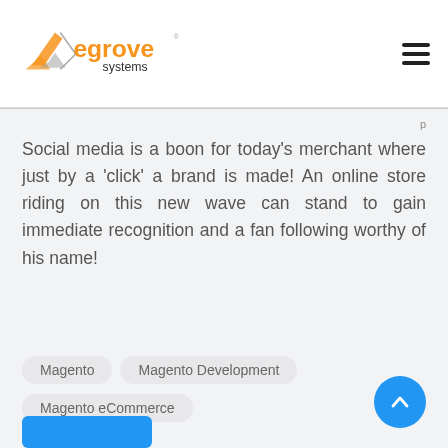eGrove Systems
Social media is a boon for today's merchant where just by a 'click' a brand is made! An online store riding on this new wave can stand to gain immediate recognition and a fan following worthy of his name!
Magento
Magento Development
Magento eCommerce
Magento Crew